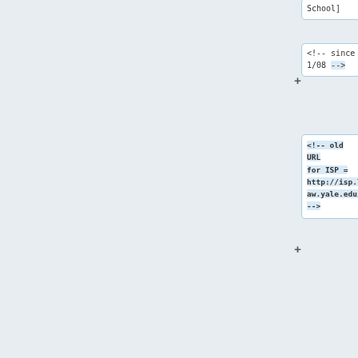School]
<!-- since 1/08 -->
<!-- old URL for ISP = http://isp.law.yale.edu/ -->
** Member of the [http://web.archive.org/web/20080512172458/http://www.iwr.co.uk/information-world-review/news/2213865/users-given-
** Member of the [http://web.archive.org/web/20080512172458/http://www.iwr.co.uk/information-world-review/news/2213865/users-given-